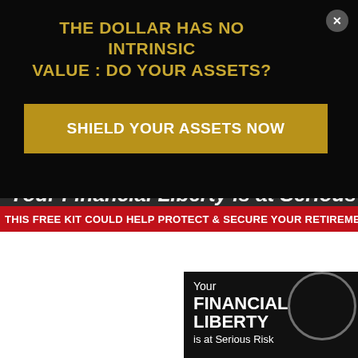THE DOLLAR HAS NO INTRINSIC VALUE : DO YOUR ASSETS?
SHIELD YOUR ASSETS NOW
Your Financial Liberty is at Serious Risk
THIS FREE KIT COULD HELP PROTECT & SECURE YOUR RETIREMENT SAVIN
[Figure (illustration): Advertisement panel showing text 'Your FINANCIAL LIBERTY is at Serious Risk' on a dark background with a circular scope/crosshair element and a partially visible figure (Statue of Liberty)]